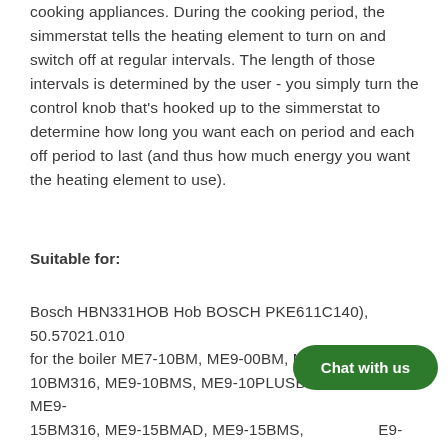cooking appliances. During the cooking period, the simmerstat tells the heating element to turn on and switch off at regular intervals. The length of those intervals is determined by the user - you simply turn the control knob that's hooked up to the simmerstat to determine how long you want each on period and each off period to last (and thus how much energy you want the heating element to use).
Suitable for:
Bosch HBN331HOB Hob BOSCH PKE611C140), 50.57021.010 for the boiler ME7-10BM, ME9-00BM, ME9-10BM, ME9-10BM316, ME9-10BMS, ME9-10PLUSBM, ME9-15BM, ME9-15BM316, ME9-15BMAD, ME9-15BMS, ME9-10BM, MPE9-10BMS, MPE9-15BM, MPE... EGO 50.57011.010 replacement